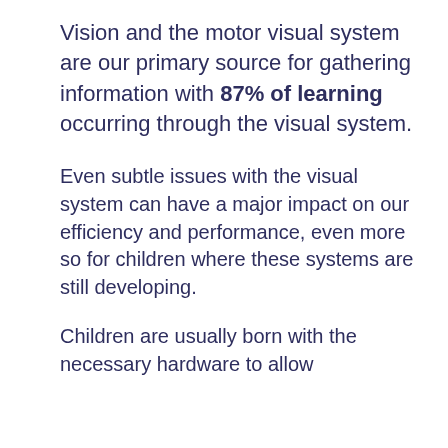Vision and the motor visual system are our primary source for gathering information with 87% of learning occurring through the visual system.
Even subtle issues with the visual system can have a major impact on our efficiency and performance, even more so for children where these systems are still developing.
Children are usually born with the necessary hardware to allow